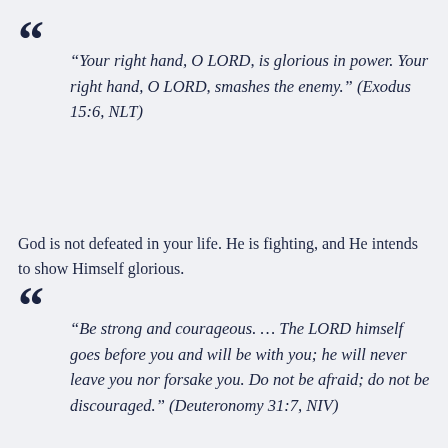“Your right hand, O LORD, is glorious in power. Your right hand, O LORD, smashes the enemy.” (Exodus 15:6, NLT)
God is not defeated in your life. He is fighting, and He intends to show Himself glorious.
“Be strong and courageous. … The LORD himself goes before you and will be with you; he will never leave you nor forsake you. Do not be afraid; do not be discouraged.” (Deuteronomy 31:7, NIV)